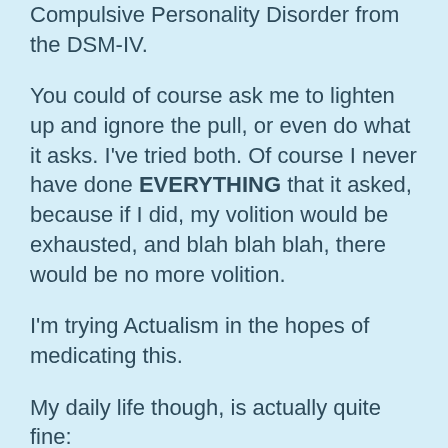Compulsive Personality Disorder from the DSM-IV.
You could of course ask me to lighten up and ignore the pull, or even do what it asks. I've tried both. Of course I never have done EVERYTHING that it asked, because if I did, my volition would be exhausted, and blah blah blah, there would be no more volition.
I'm trying Actualism in the hopes of medicating this.
My daily life though, is actually quite fine:
I'm happy, calm, often quite euphoric. Have lots of fun in general. Good appetite, sleep a lot. Plenty of friends. I just